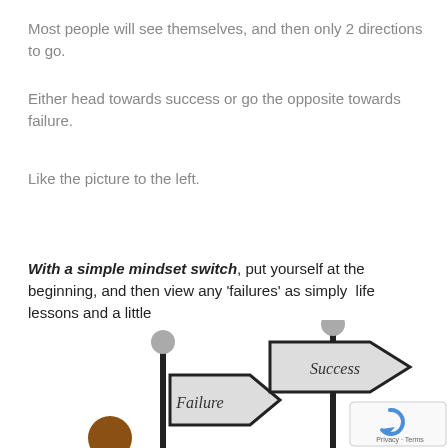Most people will see themselves, and then only 2 directions to go.
Either head towards success or go the opposite towards failure.
Like the picture to the left.
With a simple mindset switch, put yourself at the beginning, and then view any 'failures' as simply  life lessons and a little
[Figure (illustration): A cartoon illustration showing a person at a signpost with two arrow signs: one pointing right labeled 'Failure' and one pointing right (higher) labeled 'Success'. A reCAPTCHA widget appears in the bottom-right corner.]